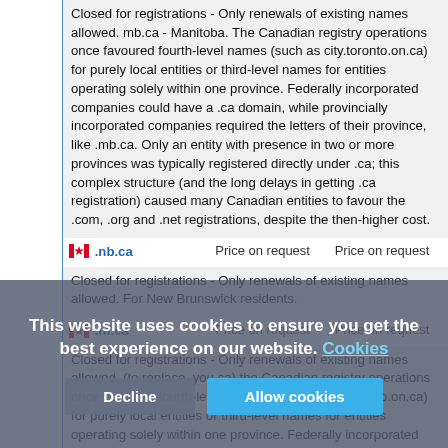| Domain | Price 1 | Price 2 |
| --- | --- | --- |
| [mb.ca description] |  |  |
| .nb.ca | Price on request | Price on request |
| Closed for registrations - Only renewals of existing names allowed. For New Brunswick residents. |  |  |
| .nf.ca | Price on request | Price on request |
| Closed for registrations - Only renewals of existing names allowed. (to replace .you.ca) the Canadian registry operations once favoured fourth-level names (such as city.toronto.on.ca) for purely local entities or third-level names for entities operating solely within one province. Federally incorporated companies could have a .ca domain, while provincially incorporated companies required the letters of their province, like .mb.ca. Only an entity with presence in two or more provinces was typically |  |  |
This website uses cookies to ensure you get the best experience on our website. Cookies